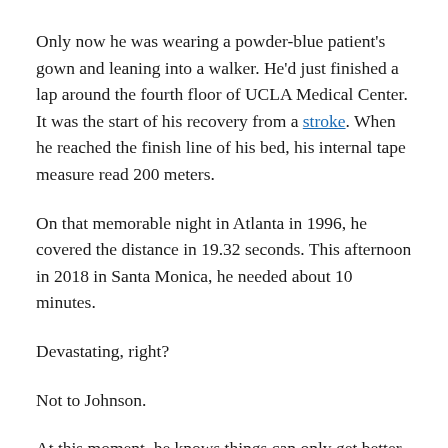Only now he was wearing a powder-blue patient's gown and leaning into a walker. He'd just finished a lap around the fourth floor of UCLA Medical Center. It was the start of his recovery from a stroke. When he reached the finish line of his bed, his internal tape measure read 200 meters.
On that memorable night in Atlanta in 1996, he covered the distance in 19.32 seconds. This afternoon in 2018 in Santa Monica, he needed about 10 minutes.
Devastating, right?
Not to Johnson.
At this moment, he knows things can only get better. And the only way to find out is by pushing his body to its limit. The challenge feels familiar.